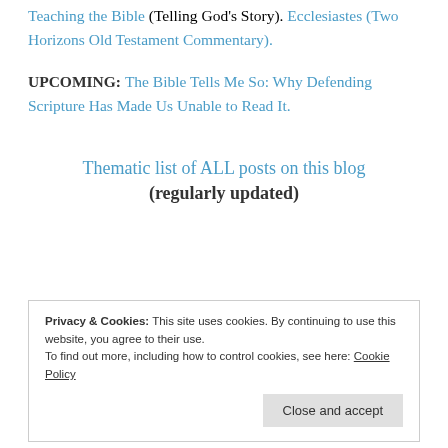Teaching the Bible (Telling God's Story). Ecclesiastes (Two Horizons Old Testament Commentary).
UPCOMING: The Bible Tells Me So: Why Defending Scripture Has Made Us Unable to Read It.
Thematic list of ALL posts on this blog (regularly updated)
Privacy & Cookies: This site uses cookies. By continuing to use this website, you agree to their use. To find out more, including how to control cookies, see here: Cookie Policy